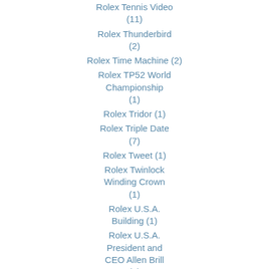Rolex Tennis Video (11)
Rolex Thunderbird (2)
Rolex Time Machine (2)
Rolex TP52 World Championship (1)
Rolex Tridor (1)
Rolex Triple Date (7)
Rolex Tweet (1)
Rolex Twinlock Winding Crown (1)
Rolex U.S.A. Building (1)
Rolex U.S.A. President and CEO Allen Brill (1)